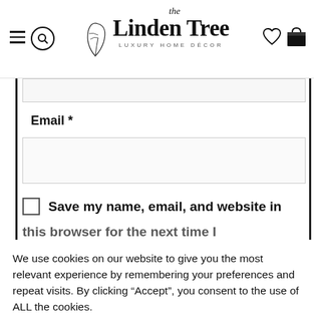[Figure (logo): The Linden Tree Luxury Home Décor logo with leaf/branch illustration, hamburger menu icon, search icon, heart icon, and shopping bag icon in the header navigation bar]
Email *
[Figure (screenshot): Email input field (empty text box)]
Save my name, email, and website in this browser for the next time I
We use cookies on our website to give you the most relevant experience by remembering your preferences and repeat visits. By clicking "Accept", you consent to the use of ALL the cookies.
Cookie settings
ACCEPT